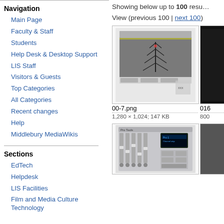Navigation
Main Page
Faculty & Staff
Students
Help Desk & Desktop Support
LIS Staff
Visitors & Guests
Top Categories
All Categories
Recent changes
Help
Middlebury MediaWikis
Sections
EdTech
Helpdesk
LIS Facilities
Film and Media Culture Technology
Showing below up to 100 results
View (previous 100 | next 100)
[Figure (screenshot): 00-7.png — screenshot of a software window showing tower/antenna visualization, 1,280 × 1,024; 147 KB]
[Figure (screenshot): 016... — partial screenshot visible at right edge]
[Figure (screenshot): Second row left image — screenshot of an audio mixer/hardware control interface]
[Figure (screenshot): Second row right image — partial screenshot visible at right edge]